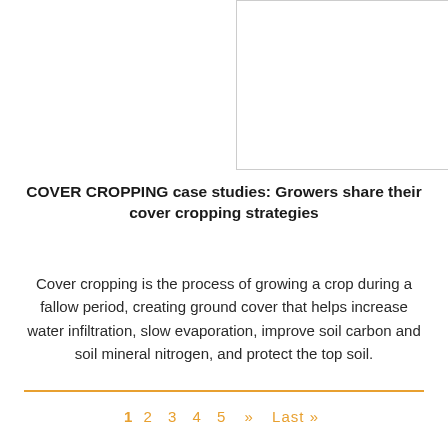[Figure (photo): Placeholder image box with white background and grey border]
COVER CROPPING case studies: Growers share their cover cropping strategies
Cover cropping is the process of growing a crop during a fallow period, creating ground cover that helps increase water infiltration, slow evaporation, improve soil carbon and soil mineral nitrogen, and protect the top soil.
1  2  3  4  5  »  Last»